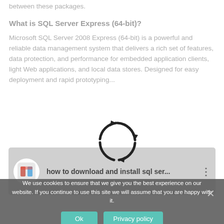between these packages.
What is SQL Server Express (64-bit)?
Microsoft SQL Server 2008 Express (64-bit) is a powerful and reliable data management system that delivers a rich set of features, data protection, and performance for embedded application clients, light Web applications, and local data stores. Designed for easy deployment and rapid prototyping...
[Figure (illustration): Circular spinning arrows icon overlay on the text]
[Figure (screenshot): Video card with logo and title: how to download and install sql ser...]
We use cookies to ensure that we give you the best experience on our website. If you continue to use this site we will assume that you are happy with it.
Ok   Privacy policy